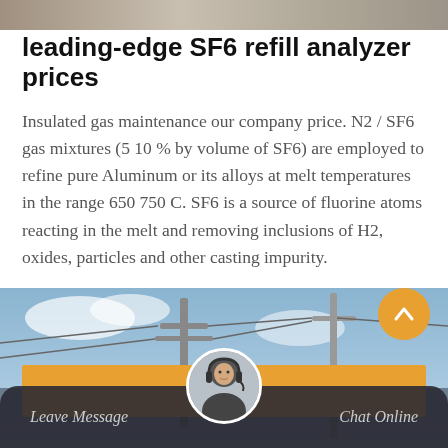[Figure (photo): Top banner photo of industrial/metal surface]
leading-edge SF6 refill analyzer prices
Insulated gas maintenance our company price. N2 / SF6 gas mixtures (5 10 % by volume of SF6) are employed to refine pure Aluminum or its alloys at melt temperatures in the range 650 750 C. SF6 is a source of fluorine atoms reacting in the melt and removing inclusions of H2, oxides, particles and other casting impurity.
[Figure (photo): Bottom photo of electrical utility poles and power lines against blue sky]
Get Price
Leave Message
Chat Online